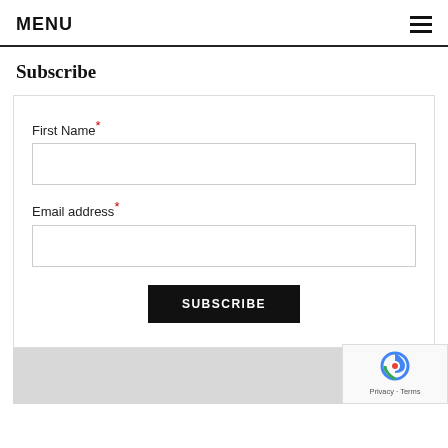MENU
Subscribe
First Name*
Email address*
SUBSCRIBE
[Figure (other): reCAPTCHA badge with Privacy and Terms links]